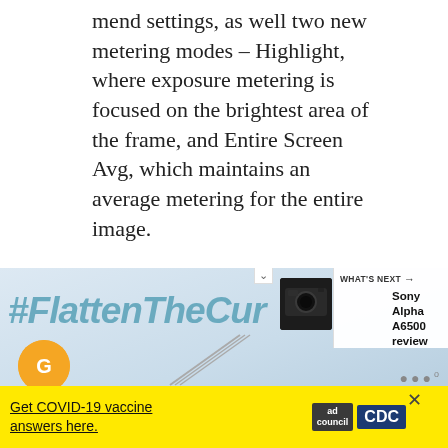mend settings, as well two new metering modes – Highlight, where exposure metering is focused on the brightest area of the frame, and Entire Screen Avg, which maintains an average metering for the entire image.
The camera is Wi-Fi, QR and NFC compatible and fully compatible with Sony's PlayMemories Mobile applications available for Android and iOS platforms, as well as Sony's range of PlayMemories Camera Apps.
[Figure (screenshot): Screenshot of a webpage showing a '#FlattenTheCurve' image with a 'WHAT'S NEXT' panel showing Sony Alpha A6500 review, social sharing buttons (heart with count 1, share button), and a yellow COVID-19 vaccine ad banner at the bottom.]